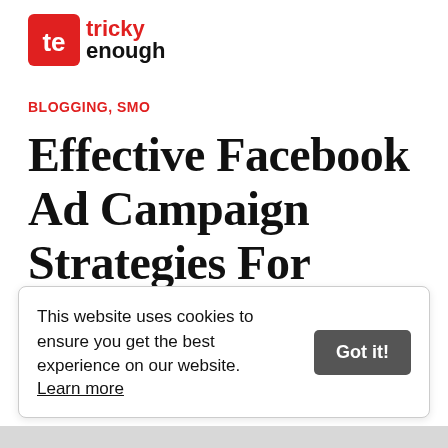[Figure (logo): Tricky Enough logo with red 'te' icon and text 'tricky enough']
BLOGGING, SMO
Effective Facebook Ad Campaign Strategies For Brands
Written by Aline Carrara
This website uses cookies to ensure you get the best experience on our website. Learn more